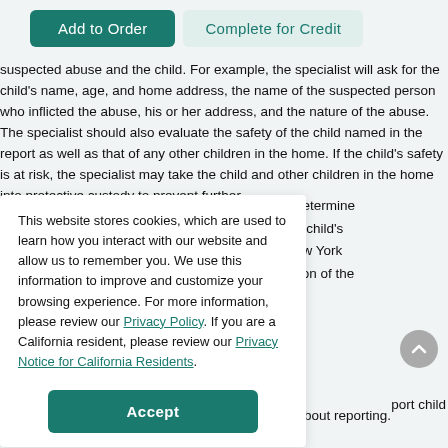[Figure (screenshot): Two UI buttons: 'Add to Order' (teal filled) and 'Complete for Credit' (light teal outline)]
suspected abuse and the child. For example, the specialist will ask for the child's name, age, and home address, the name of the suspected person who inflicted the abuse, his or her address, and the nature of the abuse. The specialist should also evaluate the safety of the child named in the report as well as that of any other children in the home. If the child's safety is at risk, the specialist may take the child and other children in the home into protective custody to prevent further
This website stores cookies, which are used to learn how you interact with our website and allow us to remember you. We use this information to improve and customize your browsing experience. For more information, please review our Privacy Policy. If you are a California resident, please review our Privacy Notice for California Residents.
determine e child's ew York tion of the
[Figure (screenshot): Accept button (teal) for cookie consent]
port child
abuse and neglect are concerned and/or anxious about reporting. Identified